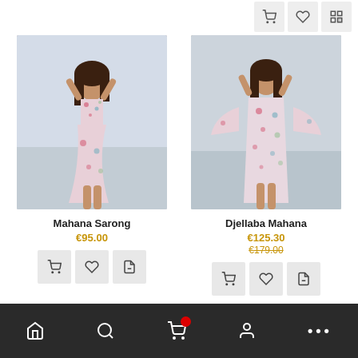[Figure (screenshot): E-commerce product listing page showing two floral beachwear products with images, names, prices, and action buttons. Top shows cart/wishlist/share icons. Bottom has dark navigation bar with home, search, cart (with red badge), user, and more icons.]
Mahana Sarong
€95.00
Djellaba Mahana
€125.30
€179.00